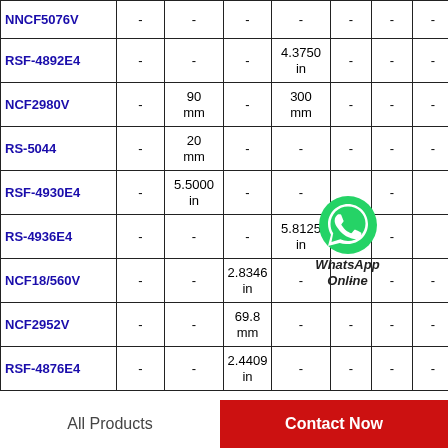| Part Name |  |  |  |  |  |  |  |  |
| --- | --- | --- | --- | --- | --- | --- | --- | --- |
| NNCF5076V | - | - | - | - | - | - | - | 0 |
| RSF-4892E4 | - | - | - | 4.3750 in | - | - | - |  |
| NCF2980V | - | 90 mm | - | 300 mm | - | - | - |  |
| RS-5044 | - | 20 mm | - | - | - | - | - |  |
| RSF-4930E4 | - | 5.5000 in | - | - |  | - |  |  |
| RS-4936E4 | - | - | - | 5.8125 in |  | - |  |  |
| NCF18/560V | - | - | 2.8346 in | - | - | - | - |  |
| NCF2952V | - | - | 69.8 mm | - | - | - | - |  |
| RSF-4876E4 | - | - | 2.4409 in | - | - | - | - |  |
All Products
Contact Now